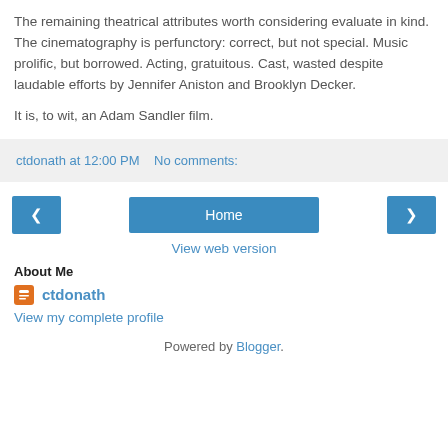The remaining theatrical attributes worth considering evaluate in kind. The cinematography is perfunctory: correct, but not special. Music prolific, but borrowed. Acting, gratuitous. Cast, wasted despite laudable efforts by Jennifer Aniston and Brooklyn Decker.
It is, to wit, an Adam Sandler film.
ctdonath at 12:00 PM   No comments:
‹   Home   ›   View web version
About Me
ctdonath
View my complete profile
Powered by Blogger.